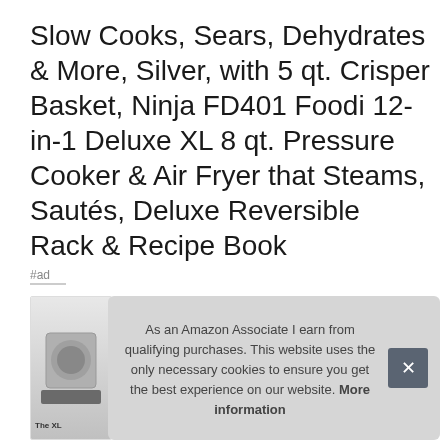Slow Cooks, Sears, Dehydrates & More, Silver, with 5 qt. Crisper Basket, Ninja FD401 Foodi 12-in-1 Deluxe XL 8 qt. Pressure Cooker & Air Fryer that Steams, Sautés, Deluxe Reversible Rack & Recipe Book
#ad
[Figure (photo): Thumbnail image of the Ninja Foodi product with 'The XL' label visible at bottom]
As an Amazon Associate I earn from qualifying purchases. This website uses the only necessary cookies to ensure you get the best experience on our website. More information